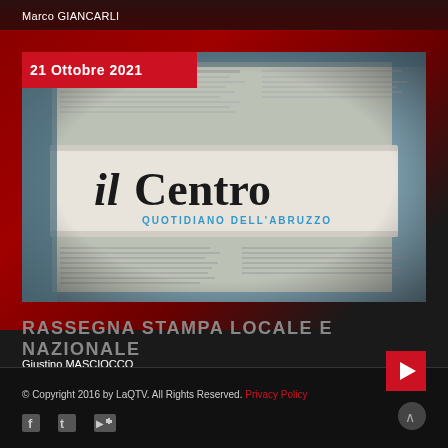Marco GIANCARLI
[Figure (screenshot): Newspaper thumbnail showing 'il Centro - Quotidiano dell'Abruzzo' masthead on crumpled newsprint background, with a red date badge '21 Ottobre 2021' in the top-left corner and a red play button in the bottom-right corner]
RASSEGNA STAMPA LOCALE E NAZIONALE
Giustino MASCIOCCO
© Copyright 2016 by LaQTV. All Rights Reserved. Privacy Policy